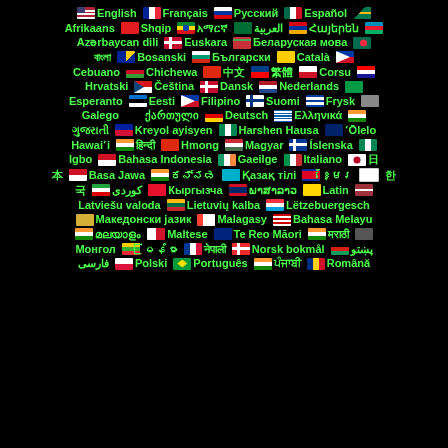[Figure (infographic): Grid of world language names with their corresponding country flags on black background. Languages listed include English, Français, Русский, Español, Afrikaans, Shqip, various scripts, العربية, Հայերեն, Azərbaycan dili, Euskara, Беларуская мова, Bengali, Bosanski, Български, Català, Cebuano, Chichewa, Chinese scripts, Corsu, Hrvatski, Čeština, Dansk, Nederlands, Esperanto, Eesti, Filipino, Suomi, Frysk, Galego, ქართული, Deutsch, Ελληνικά, Hindi, Kreyol ayisyen, Harshen Hausa, Ōlelo Hawaiʻi, Hindi, Hmong, Magyar, Íslenska, Igbo, Bahasa Indonesia, Gaeilge, Italiano, Japanese, Javanese, Kazakh, Khmer, Korean, Kurdish, Kyrgyz, Lao, Latin, Latviešu valoda, Lietuvių kalba, Lëtzebuergesch, Македонски јазик, Malagasy, Bahasa Melayu, Maltese, Te Reo Māori, Marathi, Монгол, Burmese, Nepali, Norsk bokmål, Pashto, Persian, Polski, Português, Punjabi, Română]